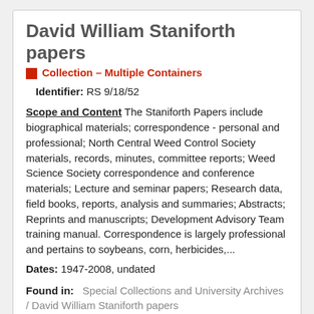David William Staniforth papers
Collection – Multiple Containers
Identifier: RS 9/18/52
Scope and Content The Staniforth Papers include biographical materials; correspondence - personal and professional; North Central Weed Control Society materials, records, minutes, committee reports; Weed Science Society correspondence and conference materials; Lecture and seminar papers; Research data, field books, reports, analysis and summaries; Abstracts; Reprints and manuscripts; Development Advisory Team training manual. Correspondence is largely professional and pertains to soybeans, corn, herbicides,...
Dates: 1947-2008, undated
Found in: Special Collections and University Archives / David William Staniforth papers
Dean R. Prestemon papers